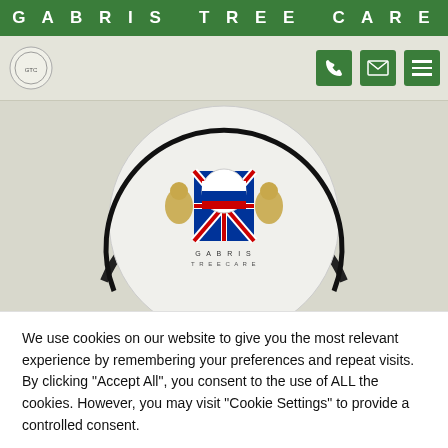GABRIS TREE CARE
[Figure (logo): Gabris Tree Care circular coat-of-arms logo with British and Slovak flags, two lion supporters, and text 'GABRIS TREE CARE']
We use cookies on our website to give you the most relevant experience by remembering your preferences and repeat visits. By clicking "Accept All", you consent to the use of ALL the cookies. However, you may visit "Cookie Settings" to provide a controlled consent.
Cookie Settings | Accept All